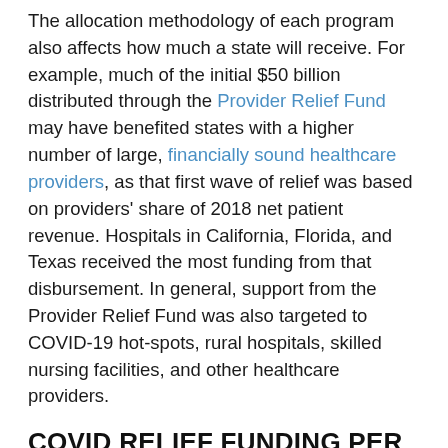The allocation methodology of each program also affects how much a state will receive. For example, much of the initial $50 billion distributed through the Provider Relief Fund may have benefited states with a higher number of large, financially sound healthcare providers, as that first wave of relief was based on providers' share of 2018 net patient revenue. Hospitals in California, Florida, and Texas received the most funding from that disbursement. In general, support from the Provider Relief Fund was also targeted to COVID-19 hot-spots, rural hospitals, skilled nursing facilities, and other healthcare providers.
COVID RELIEF FUNDING PER CAPITA BY STATE
The amount of funding received by each state on a per capita basis varies for a number of reasons, many of which are due to the design of each individual